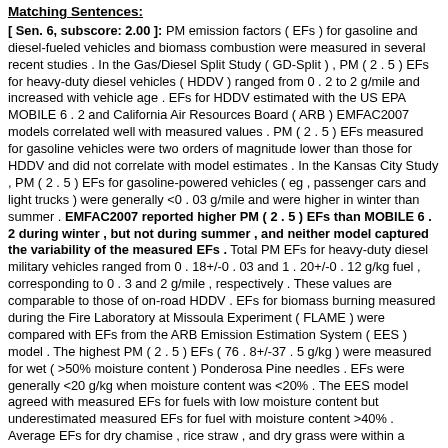Matching Sentences:
[ Sen. 6, subscore: 2.00 ]: PM emission factors ( EFs ) for gasoline and diesel-fueled vehicles and biomass combustion were measured in several recent studies . In the Gas/Diesel Split Study ( GD-Split ) , PM ( 2 . 5 ) EFs for heavy-duty diesel vehicles ( HDDV ) ranged from 0 . 2 to 2 g/mile and increased with vehicle age . EFs for HDDV estimated with the US EPA MOBILE 6 . 2 and California Air Resources Board ( ARB ) EMFAC2007 models correlated well with measured values . PM ( 2 . 5 ) EFs measured for gasoline vehicles were two orders of magnitude lower than those for HDDV and did not correlate with model estimates . In the Kansas City Study , PM ( 2 . 5 ) EFs for gasoline-powered vehicles ( eg , passenger cars and light trucks ) were generally <0 . 03 g/mile and were higher in winter than summer . EMFAC2007 reported higher PM ( 2 . 5 ) EFs than MOBILE 6 . 2 during winter , but not during summer , and neither model captured the variability of the measured EFs . Total PM EFs for heavy-duty diesel military vehicles ranged from 0 . 18+/-0 . 03 and 1 . 20+/-0 . 12 g/kg fuel , corresponding to 0 . 3 and 2 g/mile , respectively . These values are comparable to those of on-road HDDV . EFs for biomass burning measured during the Fire Laboratory at Missoula Experiment ( FLAME ) were compared with EFs from the ARB Emission Estimation System ( EES ) model . The highest PM ( 2 . 5 ) EFs ( 76 . 8+/-37 . 5 g/kg ) were measured for wet ( >50% moisture content ) Ponderosa Pine needles . EFs were generally <20 g/kg when moisture content was <20% . The EES model agreed with measured EFs for fuels with low moisture content but underestimated measured EFs for fuel with moisture content >40% . Average EFs for dry chamise , rice straw , and dry grass were within a factor of three of values adopted by ARB in Californias San Joaquin Valley ( SJV ) . Discrepancies between measured and modeled emission factors suggest that there may be important uncertainties in current PM ( 2 . 5 ) emission inventories .